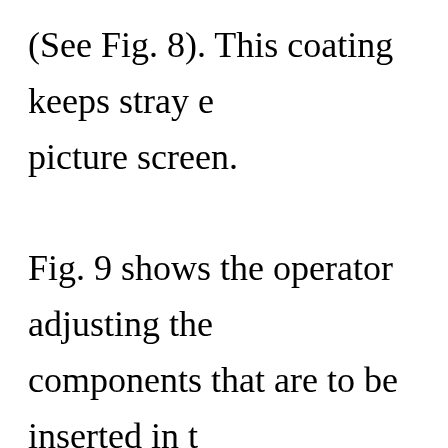(See Fig. 8). This coating keeps stray e picture screen. Fig. 9 shows the operator adjusting the components that are to be inserted in t production, the prepared bulb is ready stem which supports the internal elem This operation takes place on a compl fired sealing machine (Fig. 10) where the tube, the flare and bulb are sealed,